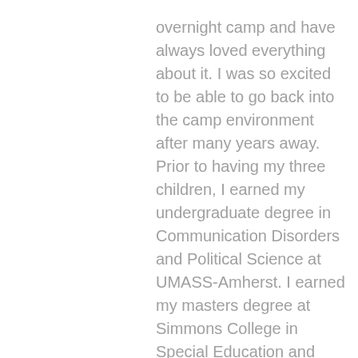overnight camp and have always loved everything about it.  I was so excited to be able to go back into the camp environment after many years away.  Prior to having my three children, I earned my undergraduate degree in Communication Disorders and Political Science at UMASS-Amherst.  I earned my masters degree at Simmons College in Special Education and worked as a special education teacher at both the elementary and middle school levels. I also taught Hebrew school at our local temple.
I love hiking and biking with my family.  I also love traveling and exploring new places.  In my spare time, I love to pick up a good book.  My favorite color is pink.  A fun fact about me- I grew up in